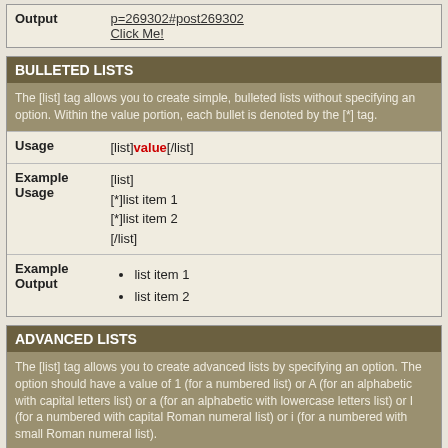| Output |  |
| --- | --- |
| Output | p=269302#post269302
Click Me! |
BULLETED LISTS
The [list] tag allows you to create simple, bulleted lists without specifying an option. Within the value portion, each bullet is denoted by the [*] tag.
| Usage | Example Usage | Example Output |
| --- | --- | --- |
| Usage | [list]value[/list] |
| Example Usage | [list]
[*]list item 1
[*]list item 2
[/list] |
| Example Output | • list item 1
• list item 2 |
ADVANCED LISTS
The [list] tag allows you to create advanced lists by specifying an option. The option should have a value of 1 (for a numbered list) or A (for an alphabetic with capital letters list) or a (for an alphabetic with lowercase letters list) or I (for a numbered with capital Roman numeral list) or i (for a numbered with small Roman numeral list).
| Usage | Example Usage |
| --- | --- |
| Usage | [list=Option]value[/list] |
| Example Usage | [list=1]
[*]list item 1
[*]list item 2 |